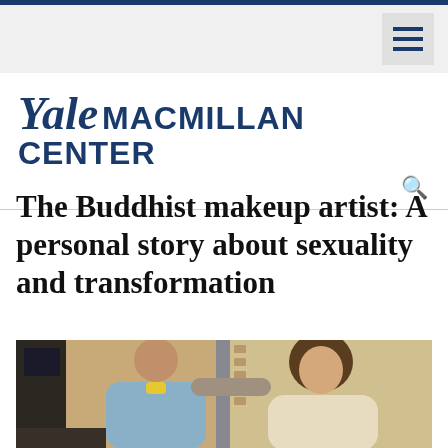Yale Macmillan Center
The Buddhist makeup artist: A personal story about sexuality and transformation
[Figure (photo): A makeup artist with a shaved head leaning forward to apply makeup to a person with curly hair, in a room with a computer visible on the left side]